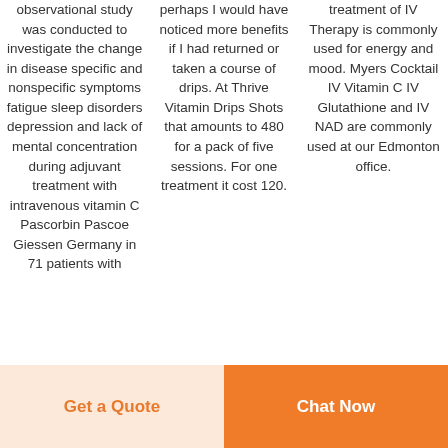observational study was conducted to investigate the change in disease specific and nonspecific symptoms fatigue sleep disorders depression and lack of mental concentration during adjuvant treatment with intravenous vitamin C Pascorbin Pascoe Giessen Germany in 71 patients with
perhaps I would have noticed more benefits if I had returned or taken a course of drips. At Thrive Vitamin Drips Shots that amounts to 480 for a pack of five sessions. For one treatment it cost 120.
treatment of IV Therapy is commonly used for energy and mood. Myers Cocktail IV Vitamin C IV Glutathione and IV NAD are commonly used at our Edmonton office.
Get a Quote
Chat Now